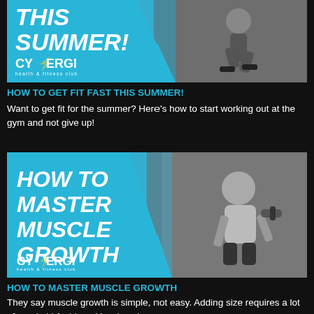[Figure (photo): Cynergi health & fitness club banner showing person running/working out with text 'THIS SUMMER!' and Cynergi logo on blue background]
HOW TO GET FIT FAST THIS SUMMER!
Want to get fit for the summer? Here's how to start working out at the gym and not give up!
[Figure (photo): Cynergi health & fitness club banner showing man lifting dumbbell with text 'HOW TO MASTER MUSCLE GROWTH' on blue background]
HOW TO MASTER MUSCLE GROWTH
They say muscle growth is simple, not easy. Adding size requires a lot of good old-fashioned hard work.